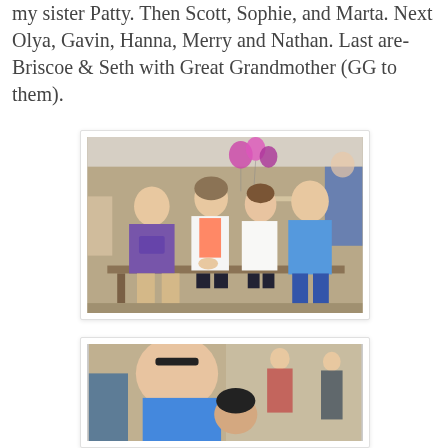my sister Patty. Then Scott, Sophie, and Marta. Next Olya, Gavin, Hanna, Merry and Nathan. Last are- Briscoe & Seth with Great Grandmother (GG to them).
[Figure (photo): Four adults (two men and two women) sitting together on a bench at an outdoor party with stone fireplace and decorations in the background. Man on left wearing a purple t-shirt and shorts, woman in white jacket with coral top, woman in white blouse, man on right in blue polo with jeans.]
[Figure (photo): A man in a blue shirt leaning forward smiling, with a child below him, and two young women standing in the background near a stone wall.]